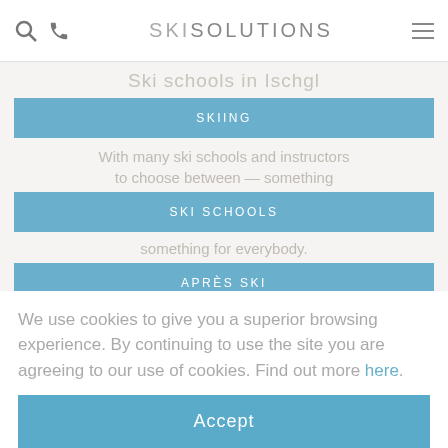SKI SOLUTIONS
SKIING
SKI SCHOOLS
APRÈS SKI
Ski schools in Ischgl
With many ski schools and instructors to choose between, there really is something for everybody.
Generation and Oxygène and highly recommend their services. All of our partners offer fantastic lessons for all
We use cookies to give you a superior browsing experience. By continuing to use the site you are agreeing to our use of cookies. Find out more here.
Accept